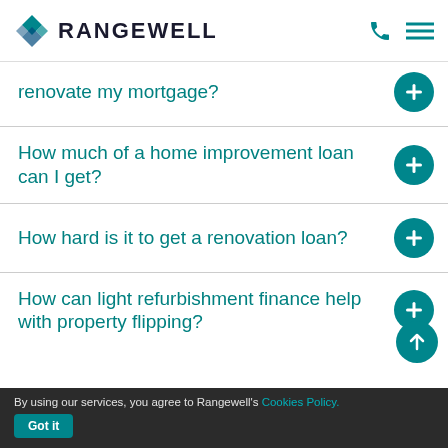RANGEWELL
renovate my mortgage?
How much of a home improvement loan can I get?
How hard is it to get a renovation loan?
How can light refurbishment finance help with property flipping?
By using our services, you agree to Rangewell's Cookies Policy. Got It